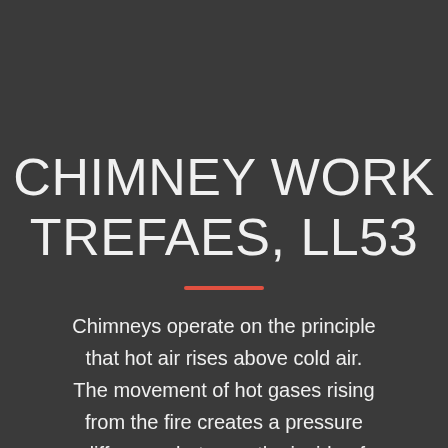CHIMNEY WORK TREFAES, LL53
Chimneys operate on the principle that hot air rises above cold air. The movement of hot gases rising from the fire creates a pressure difference between the inside of the flue and the room. This is called a “draught” and it forces air into the fireplace, this air